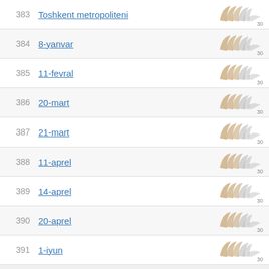383 Toshkent metropoliteni
384 8-yanvar
385 11-fevral
386 20-mart
387 21-mart
388 11-aprel
389 14-aprel
390 20-aprel
391 1-iyun